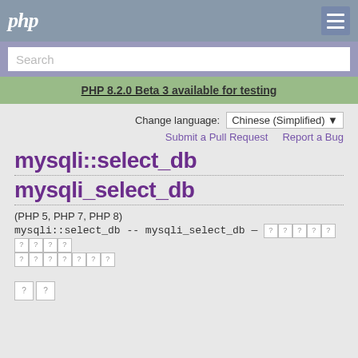php
Search
PHP 8.2.0 Beta 3 available for testing
Change language: Chinese (Simplified)
Submit a Pull Request   Report a Bug
mysqli::select_db
mysqli_select_db
(PHP 5, PHP 7, PHP 8)
mysqli::select_db -- mysqli_select_db — [Chinese characters]
[Chinese characters]